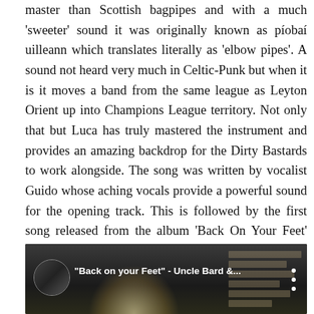master than Scottish bagpipes and with a much 'sweeter' sound it was originally known as píobaí uilleann which translates literally as 'elbow pipes'. A sound not heard very much in Celtic-Punk but when it is it moves a band from the same league as Leyton Orient up into Champions League territory. Not only that but Luca has truly mastered the instrument and provides an amazing backdrop for the Dirty Bastards to work alongside. The song was written by vocalist Guido whose aching vocals provide a powerful sound for the opening track. This is followed by the first song released from the album 'Back On Your Feet' and a song that is perhaps more usual fare for the band than track one.
[Figure (screenshot): YouTube video embed showing 'Back on your Feet' - Uncle Bard & ... with a dark thumbnail featuring a glowing light and window blinds in background, circular avatar on left, title text in white, and three-dot menu icon on right.]